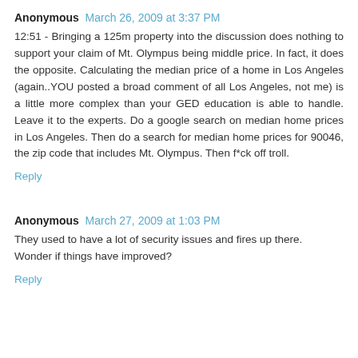Anonymous March 26, 2009 at 3:37 PM
12:51 - Bringing a 125m property into the discussion does nothing to support your claim of Mt. Olympus being middle price. In fact, it does the opposite. Calculating the median price of a home in Los Angeles (again..YOU posted a broad comment of all Los Angeles, not me) is a little more complex than your GED education is able to handle. Leave it to the experts. Do a google search on median home prices in Los Angeles. Then do a search for median home prices for 90046, the zip code that includes Mt. Olympus. Then f*ck off troll.
Reply
Anonymous March 27, 2009 at 1:03 PM
They used to have a lot of security issues and fires up there.
Wonder if things have improved?
Reply